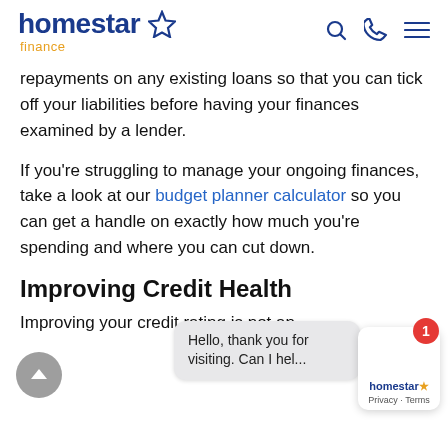homestar finance
repayments on any existing loans so that you can tick off your liabilities before having your finances examined by a lender.
If you’re struggling to manage your ongoing finances, take a look at our budget planner calculator so you can get a handle on exactly how much you’re spending and where you can cut down.
Improving Credit Health
Improving your credit rating is not an